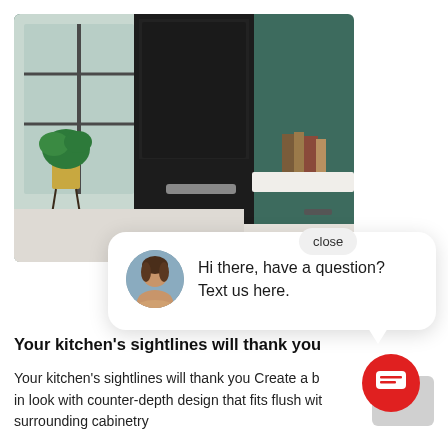[Figure (photo): Kitchen interior showing dark/black refrigerator with dark teal cabinetry and white marble countertop. A potted plant is visible near a window in the background; books and decorative items on the counter.]
[Figure (screenshot): Chat widget popup with close button and avatar of a woman, displaying the message 'Hi there, have a question? Text us here.']
Your kitchen's sightlines will thank you
Your kitchen's sightlines will thank you Create a b in look with counter-depth design that fits flush wit surrounding cabinetry